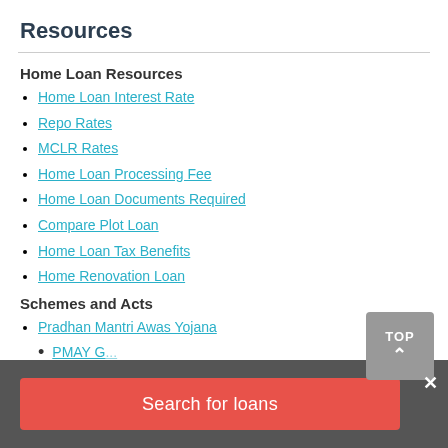Resources
Home Loan Resources
Home Loan Interest Rate
Repo Rates
MCLR Rates
Home Loan Processing Fee
Home Loan Documents Required
Compare Plot Loan
Home Loan Tax Benefits
Home Renovation Loan
Schemes and Acts
Pradhan Mantri Awas Yojana
PMAY G...
Search for loans